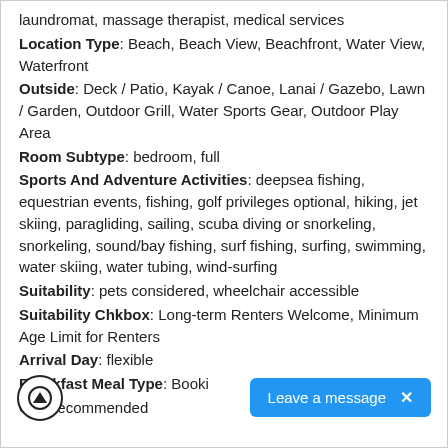laundromat, massage therapist, medical services
Location Type: Beach, Beach View, Beachfront, Water View, Waterfront
Outside: Deck / Patio, Kayak / Canoe, Lanai / Gazebo, Lawn / Garden, Outdoor Grill, Water Sports Gear, Outdoor Play Area
Room Subtype: bedroom, full
Sports And Adventure Activities: deepsea fishing, equestrian events, fishing, golf privileges optional, hiking, jet skiing, paragliding, sailing, scuba diving or snorkeling, snorkeling, sound/bay fishing, surf fishing, surfing, swimming, water skiing, water tubing, wind-surfing
Suitability: pets considered, wheelchair accessible
Suitability Chkbox: Long-term Renters Welcome, Minimum Age Limit for Renters
Arrival Day: flexible
Breakfast Meal Type: Booki
Car: recommended